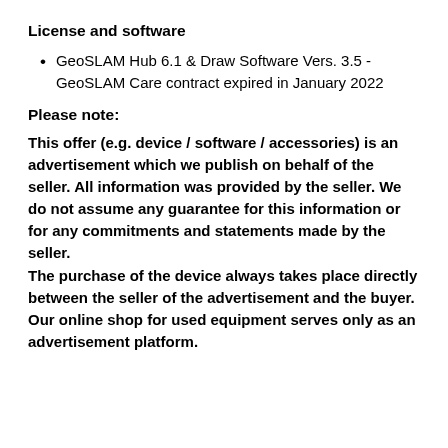License and software
GeoSLAM Hub 6.1 & Draw Software Vers. 3.5 - GeoSLAM Care contract expired in January 2022
Please note:
This offer (e.g. device / software / accessories) is an advertisement which we publish on behalf of the seller. All information was provided by the seller. We do not assume any guarantee for this information or for any commitments and statements made by the seller. The purchase of the device always takes place directly between the seller of the advertisement and the buyer. Our online shop for used equipment serves only as an advertisement platform.